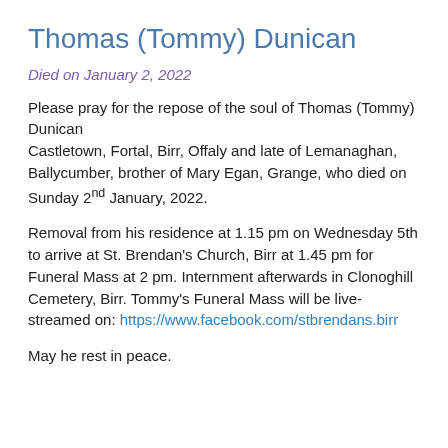Thomas (Tommy) Dunican
Died on January 2, 2022
Please pray for the repose of the soul of Thomas (Tommy) Dunican Castletown, Fortal, Birr, Offaly and late of Lemanaghan, Ballycumber, brother of Mary Egan, Grange, who died on Sunday 2nd January, 2022.
Removal from his residence at 1.15 pm on Wednesday 5th to arrive at St. Brendan's Church, Birr at 1.45 pm for Funeral Mass at 2 pm. Internment afterwards in Clonoghill Cemetery, Birr. Tommy's Funeral Mass will be live-streamed on: https://www.facebook.com/stbrendans.birr
May he rest in peace.